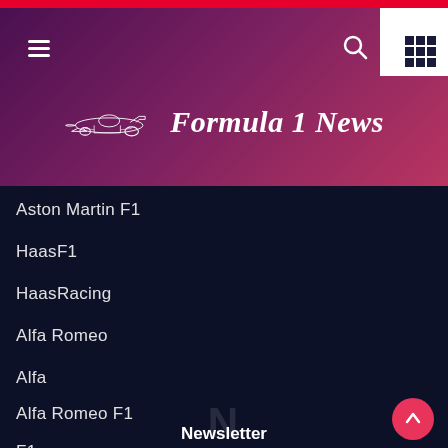[Figure (screenshot): Formula 1 News website header with gradient purple-to-pink background, F1 car illustration, and 'Formula 1 News' title in white italic text. Menu hamburger icon on left, search and grid icons on top right.]
Aston Martin F1
HaasF1
HaasRacing
Alfa Romeo
Alfa
Alfa Romeo F1
F1
Newsletter